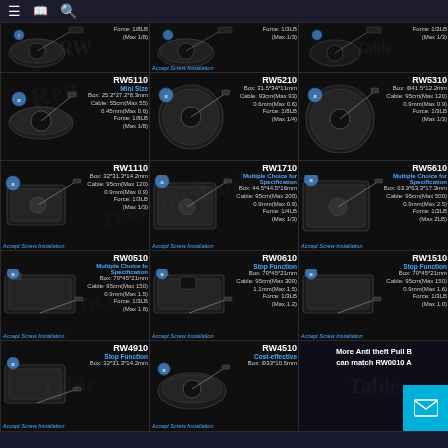Navigation bar with hamburger menu, book icon, search icon
[Figure (photo): Grid of anti-theft pull box retractors. Row 1 partial: 3 products with Force 1/8LB, 1/3LB, 1/3LB specs. Row 2: RW5110 Mini Size, RW5210, RW5310. Row 3: RW1110, RW1710 Multiple Choice, RW5610 Multiple Choice. Row 4: RW0510 Multiple Choice, RW0610 Stop Function, RW1510 Stop Function. Row 5 partial: RW4910 Stop Function, RW4510 Cost-effective, More Anti theft Pull Box can match RW0010.]
RW5110 Mini Size Box: 25.2*27.2*8.3mm Cable: 55cm(Max 55) 0.45mm(Max 0.6) Force: 1/8LB (Max 1/8)
RW5210 Box: 31.5*34*11mm Cable: 93cm(Max 93) 0.6mm(Max 0.6) Force: 1/8LB (Max 1/4)
RW5310 Box: Φ41.5*12.2mm Cable: 95cm(Max 120) 0.9mm(Max 0.9) Force: 1/3LB (Max 1/3)
RW1110 Box: 32*31.3*14.2mm Cable: 95cm(Max 120) 0.9mm(Max 0.9) Force: 1/3LB (Max 1/3)
RW1710 Multiple Choice for Specification Box: 44.5*44.5*16mm Cable: 95cm(Max 200) 0.9mm(Max 0.9) Force: 1/4LB (Max 1/3)
RW5610 Multiple Choice for Specification Box: 63.3*63.3*17.3mm Cable: 95cm(Max 500) 0.9mm(Max 2.5) Force: 1/3LB (Max 2LB)
RW0510 Multiple Choice for Specification Box: 70*45*21mm Cable: 95cm(Max 150) 0.9mm(Max 1.5) Force: 1/3LB (Max 1.8)
RW0610 Stop Function Box: 70*45*21mm Cable: 95cm(Max 300) 1.1mm(Max 1.5) Force: 1/3LB (Max 1.2)
RW1510 Stop Function Box: 70*45*21mm Cable: 95cm(Max 150) 0.9mm(Max 1.6) Force: 1/3LB (Max 1.0)
RW4910 Stop Function Box: 32*31.3*14.2mm
RW4510 Cost-effective Box: Φ33*10.5mm
More Anti theft Pull Box can match RW0010 A